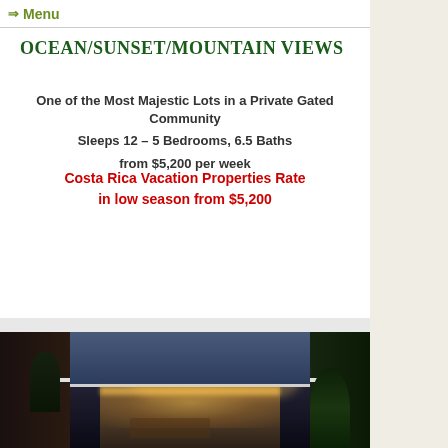⇒ Menu
Ocean/Sunset/Mountain Views
One of the Most Majestic Lots in a Private Gated Community
Sleeps 12 – 5 Bedrooms, 6.5 Baths
from $5,200 per week
Costa Rica Vacation Properties Rate in low season from $5,200
[Figure (photo): Exterior twilight view of a luxury villa with illuminated flat roof ceiling and warm interior lighting, surrounded by tropical vegetation, shot at dusk with dramatic cloudy sky]